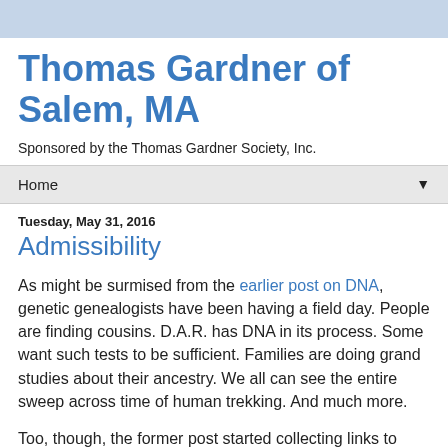Thomas Gardner of Salem, MA
Sponsored by the Thomas Gardner Society, Inc.
Home
Tuesday, May 31, 2016
Admissibility
As might be surmised from the earlier post on DNA, genetic genealogists have been having a field day. People are finding cousins. D.A.R. has DNA in its process. Some want such tests to be sufficient. Families are doing grand studies about their ancestry. We all can see the entire sweep across time of human trekking. And much more.
Too, though, the former post started collecting links to